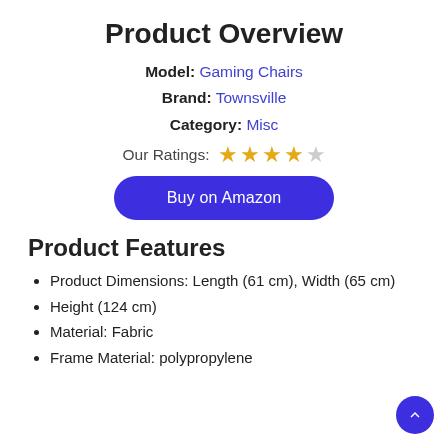Product Overview
Model: Gaming Chairs
Brand: Townsville
Category: Misc
Our Ratings: ★★★★☆
Buy on Amazon
Product Features
Product Dimensions: Length (61 cm), Width (65 cm)
Height (124 cm)
Material: Fabric
Frame Material: polypropylene